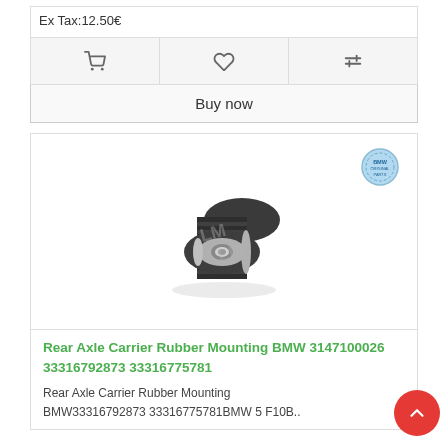Ex Tax:12.50€
[Figure (screenshot): Action bar with cart icon, heart/wishlist icon, and compare icon buttons on grey background]
Buy now
[Figure (photo): Rear Axle Carrier Rubber Mounting bush part photo - cylindrical ribbed rubber part with metal center, with BMW original badge in top right]
Rear Axle Carrier Rubber Mounting BMW 3147100026 33316792873 33316775781
Rear Axle Carrier Rubber Mounting BMW33316792873 33316775781BMW 5 F10B..